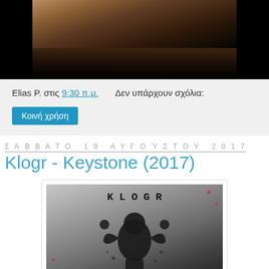[Figure (photo): Top banner image with dark brown/black gradient background, appears to be an old painting or illustration]
Elias P. στις 9:30 π.μ.    Δεν υπάρχουν σχόλια:
Κοινή χρήση
Σάββατο 19 Αυγούστου 2017
Klogr - Keystone (2017)
[Figure (photo): Album cover for Klogr - Keystone (2017). Black and white image with the word KLOGR at top in spaced lettering, and a silhouetted figure of a person with hands raised to their head, surrounded by paint splatter effects. Some red spots visible.]